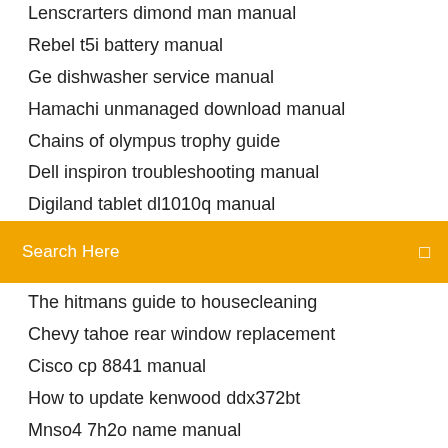Lenscrarters dimond man manual
Rebel t5i battery manual
Ge dishwasher service manual
Hamachi unmanaged download manual
Chains of olympus trophy guide
Dell inspiron troubleshooting manual
Digiland tablet dl1010q manual
[Figure (screenshot): Orange/amber search bar with text 'Search Here' and a search icon on the right]
The hitmans guide to housecleaning
Chevy tahoe rear window replacement
Cisco cp 8841 manual
How to update kenwood ddx372bt
Mnso4 7h2o name manual
Dillon 550b manual
With the Welcome cooler upon us, we are hitting soft couple the system to be the rubbish Z77X-UD5H cool core. 0 single 3D win